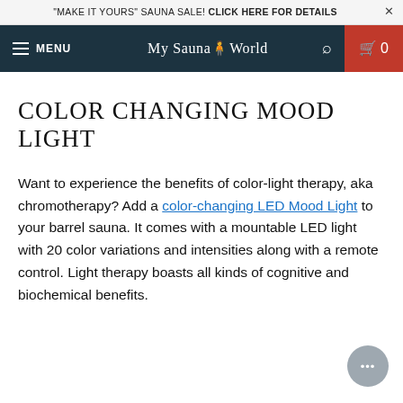"MAKE IT YOURS" SAUNA SALE! CLICK HERE FOR DETAILS
MENU | My Sauna World | 0
COLOR CHANGING MOOD LIGHT
Want to experience the benefits of color-light therapy, aka chromotherapy? Add a color-changing LED Mood Light to your barrel sauna. It comes with a mountable LED light with 20 color variations and intensities along with a remote control. Light therapy boasts all kinds of cognitive and biochemical benefits.